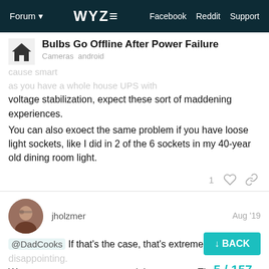Forum  WYZE  Facebook  Reddit  Support
Bulbs Go Offline After Power Failure
Cameras  android
voltage stabilization, expect these sort of maddening experiences.

You can also exoect the same problem if you have loose light sockets, like I did in 2 of the 6 sockets in my 40-year old dining room light.
jholzmer  Aug '19
@DadCooks If that's the case, that's extremely disappointing. We get power outages several times a year. The are dirt simple and quick to setup and/or reset (and BTW seem to handle power outs just fine with no need to the bulbs sucks by comparison. If I'm going